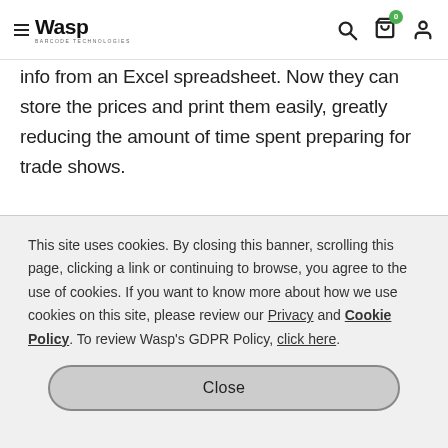Wasp Barcode Technologies
info from an Excel spreadsheet. Now they can store the prices and print them easily, greatly reducing the amount of time spent preparing for trade shows.
This site uses cookies. By closing this banner, scrolling this page, clicking a link or continuing to browse, you agree to the use of cookies. If you want to know more about how we use cookies on this site, please review our Privacy and Cookie Policy. To review Wasp's GDPR Policy, click here.
Close